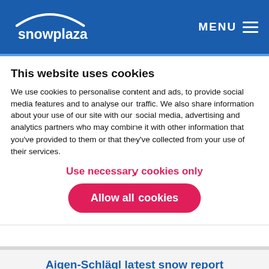snowplaza  MENU
This website uses cookies
We use cookies to personalise content and ads, to provide social media features and to analyse our traffic. We also share information about your use of our site with our social media, advertising and analytics partners who may combine it with other information that you've provided to them or that they've collected from your use of their services.
Use necessary cookies only
Allow all cookies
Aigen-Schlägl latest snow report
Last updated: Monday, 24 January 2022